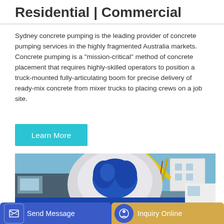Residential | Commercial
Sydney concrete pumping is the leading provider of concrete pumping services in the highly fragmented Australia markets. Concrete pumping is a "mission-critical" method of concrete placement that requires highly-skilled operators to position a truck-mounted fully-articulating boom for precise delivery of ready-mix concrete from mixer trucks to placing crews on a job site.
Learn More
[Figure (photo): A blue and white concrete mixer truck drum closeup at a construction site, with a yellow crane and white building visible in the background under a blue sky.]
Send Message
Inquiry Online